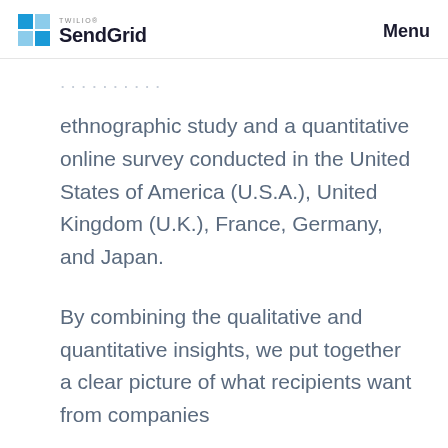Twilio SendGrid | Menu
ethnographic study and a quantitative online survey conducted in the United States of America (U.S.A.), United Kingdom (U.K.), France, Germany, and Japan.
By combining the qualitative and quantitative insights, we put together a clear picture of what recipients want from companies